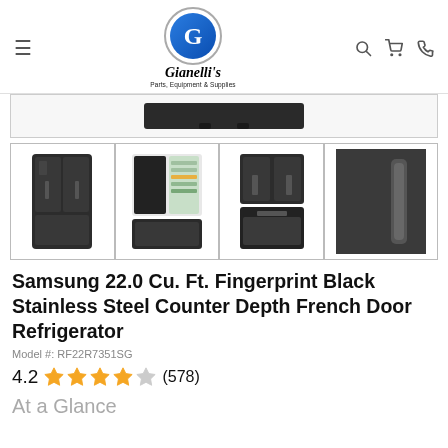Gianelli's Parts, Equipment & Supplies — navigation header
[Figure (photo): Top portion of a Samsung French Door refrigerator in black stainless steel, partially visible]
[Figure (photo): Four product thumbnails: (1) Samsung French Door refrigerator closed front view in black stainless; (2) refrigerator open showing interior shelves and food; (3) bottom drawer compartment open; (4) close-up of door handle]
Samsung 22.0 Cu. Ft. Fingerprint Black Stainless Steel Counter Depth French Door Refrigerator
Model #: RF22R7351SG
4.2 ★★★★☆ (578)
At a Glance